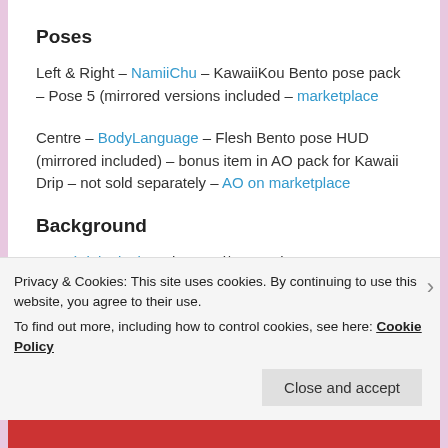Poses
Left & Right – NamiiChu – KawaiiKou Bento pose pack – Pose 5 (mirrored versions included – marketplace
Centre – BodyLanguage – Flesh Bento pose HUD (mirrored included) – bonus item in AO pack for Kawaii Drip – not sold separately – AO on marketplace
Background
*PL* (Pink Lion) Background/Neon Sign – 3 RARE
Taken at zOOm Mainstore/Zoom & Click Background
Privacy & Cookies: This site uses cookies. By continuing to use this website, you agree to their use.
To find out more, including how to control cookies, see here: Cookie Policy
Close and accept